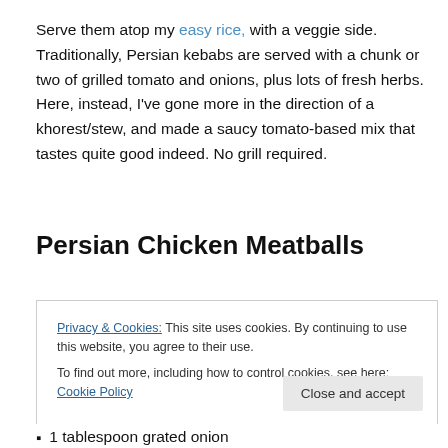Serve them atop my easy rice, with a veggie side. Traditionally, Persian kebabs are served with a chunk or two of grilled tomato and onions, plus lots of fresh herbs. Here, instead, I've gone more in the direction of a khorest/stew, and made a saucy tomato-based mix that tastes quite good indeed. No grill required.
Persian Chicken Meatballs
Privacy & Cookies: This site uses cookies. By continuing to use this website, you agree to their use.
To find out more, including how to control cookies, see here: Cookie Policy
1 tablespoon grated onion